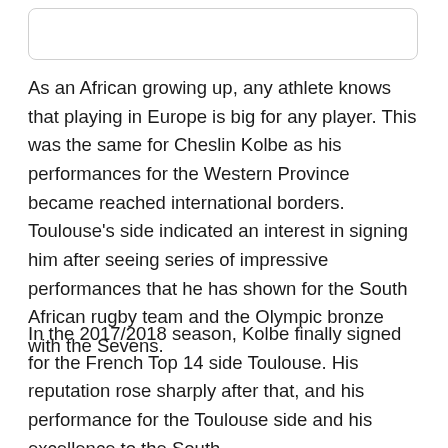[Figure (other): Rounded rectangle UI card/box element at the top of the page]
As an African growing up, any athlete knows that playing in Europe is big for any player. This was the same for Cheslin Kolbe as his performances for the Western Province became reached international borders. Toulouse's side indicated an interest in signing him after seeing series of impressive performances that he has shown for the South African rugby team and the Olympic bronze with the Sevens.
In the 2017/2018 season, Kolbe finally signed for the French Top 14 side Toulouse. His reputation rose sharply after that, and his performance for the Toulouse side...